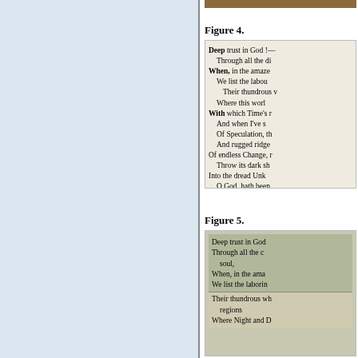[Figure (photo): Scanned page showing poem text 'Deep trust in God!—' with multiple indented lines of verse, printed in old typeface on aged paper. Figure 4.]
Figure 4.
[Figure (photo): Scanned page showing poem text 'Deep trust in God' with lines including 'Through all the c', 'soul,', 'When, in the ama', 'We list the laborin', 'Their thundrous wh', 'regions', 'Where Night and D'. Figure 5.]
Figure 5.